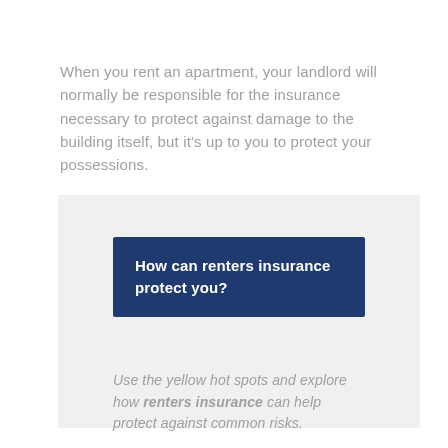When you rent an apartment, your landlord will normally be responsible for the insurance necessary to protect against damage to the building itself, but it's up to you to protect your possessions.
How can renters insurance protect you?
Use the yellow hot spots and explore how renters insurance can help protect against common risks.